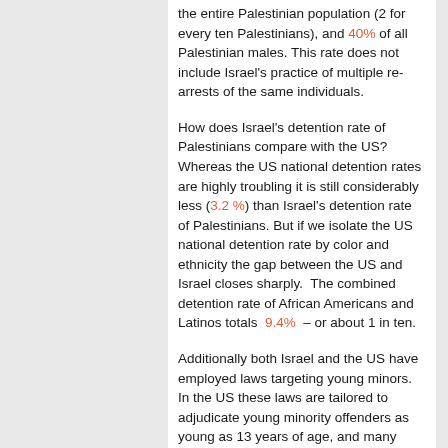the entire Palestinian population (2 for every ten Palestinians), and 40% of all Palestinian males. This rate does not include Israel's practice of multiple re-arrests of the same individuals.
How does Israel's detention rate of Palestinians compare with the US? Whereas the US national detention rates are highly troubling it is still considerably less (3.2 %) than Israel's detention rate of Palestinians. But if we isolate the US national detention rate by color and ethnicity the gap between the US and Israel closes sharply.  The combined detention rate of African Americans and Latinos totals  9.4%  – or about 1 in ten.
Additionally both Israel and the US have employed laws targeting young minors. In the US these laws are tailored to adjudicate young minority offenders as young as 13 years of age, and many have of these young Americans have been condemned to life prison terms. Israel on the other hand arbitrarily reduced the age that